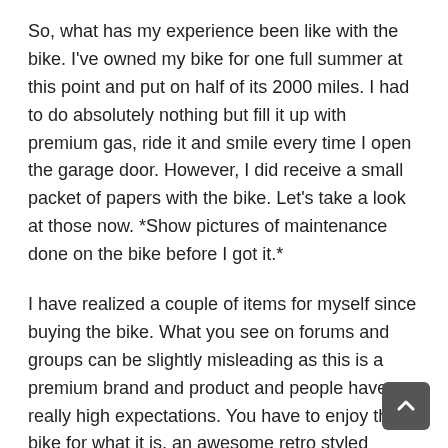So, what has my experience been like with the bike. I've owned my bike for one full summer at this point and put on half of its 2000 miles. I had to do absolutely nothing but fill it up with premium gas, ride it and smile every time I open the garage door. However, I did receive a small packet of papers with the bike. Let's take a look at those now. *Show pictures of maintenance done on the bike before I got it.*
I have realized a couple of items for myself since buying the bike. What you see on forums and groups can be slightly misleading as this is a premium brand and product and people have really high expectations. You have to enjoy this bike for what it is, an awesome retro styled roadster. Of course, I'm not afraid to work on my own vehicles anyway so that doesn't scare me at all.